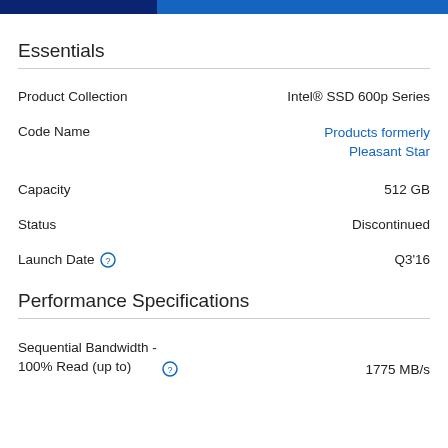Essentials
Product Collection: Intel® SSD 600p Series
Code Name: Products formerly Pleasant Star
Capacity: 512 GB
Status: Discontinued
Launch Date: Q3'16
Performance Specifications
Sequential Bandwidth - 100% Read (up to): 1775 MB/s